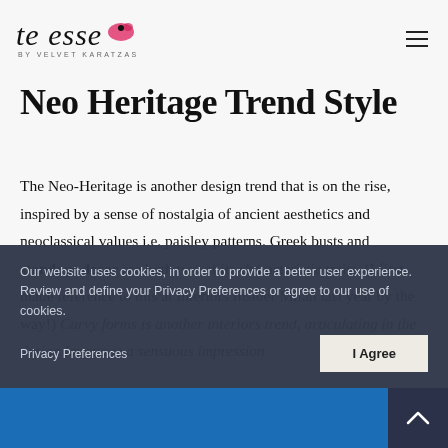te esse by VELVET KARATZAS
Neo Heritage Trend Style
The Neo-Heritage is another design trend that is on the rise, inspired by a sense of nostalgia of ancient aesthetics and neoclassical values i.e. paisley patterns. Greek busts and standout decor are both two of its characteristic traits. (I first made reference to this at Interiors Insider Milan last year by the way!) Curvy forms is another interiors trend, articulating in the design language a sensuous impression
Our website uses cookies, in order to provide a better user experience. Review and define your Privacy Preferences or agree to our use of cookies.
Privacy Preferences
I Agree